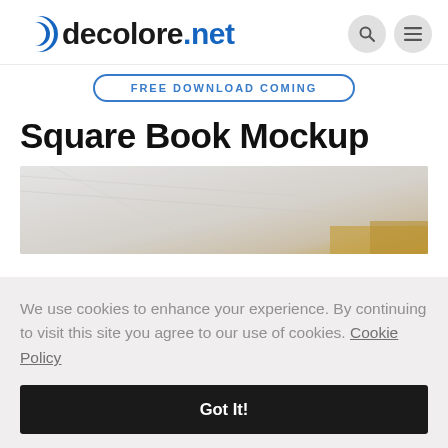decolore.net
FREE DOWNLOAD COMING
Square Book Mockup
[Figure (photo): Partial photo of a square book mockup on a light wooden/marble surface, showing top portion with light grey texture and a hint of gold/yellow color at the bottom.]
We use cookies to enhance your experience. By continuing to visit this site you agree to our use of cookies. Cookie Policy
Got It!